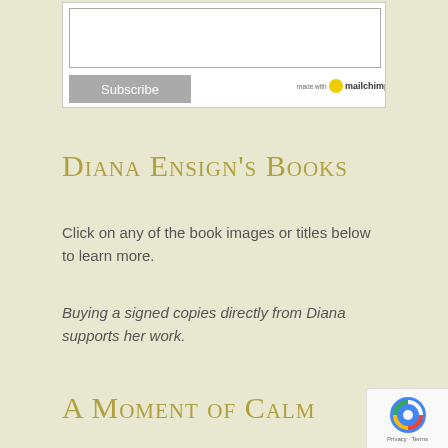[Figure (screenshot): Web form with a text area input and a Subscribe button, with Mailchimp logo in the bottom right of the form box]
Diana Ensign's Books
Click on any of the book images or titles below to learn more.
Buying a signed copies directly from Diana supports her work.
A Moment of Calm